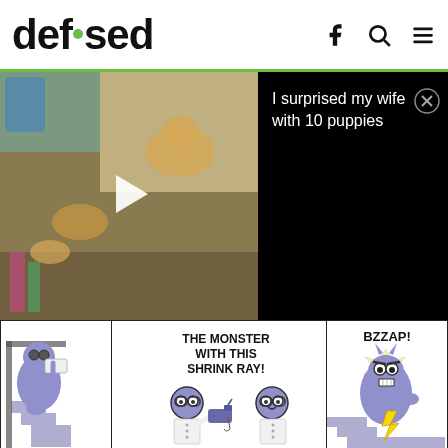defused
[Figure (screenshot): Website screenshot of defused.com showing a webpage with a video overlay and a comic strip. The header shows the defused logo with Facebook, search, and menu icons. A video popup shows puppies with the title 'I surprised my wife with 10 puppies'. Below is a comic strip showing a monster character with a shrink ray, with text 'THE MONSTER WITH THIS SHRINK RAY!' and sound effect 'BZZAP!'. The bottom panel shows 'HA HA YESSS' with berkeleymews.com watermark.]